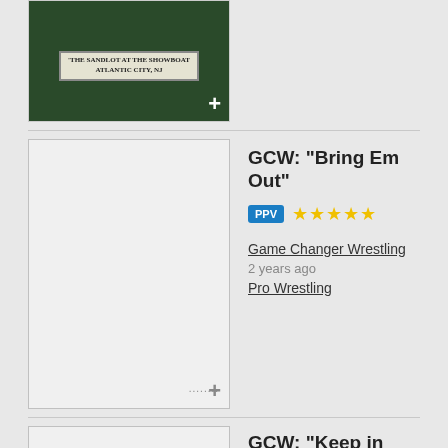[Figure (screenshot): Thumbnail image with dark green background showing text 'The Sandlot at the Showboat Atlantic City, NJ' with a plus button]
[Figure (photo): Blank/loading thumbnail placeholder with plus button and dots loader]
GCW: "Bring Em Out"
PPV ★★★★★
Game Changer Wrestling
2 years ago
Pro Wrestling
[Figure (photo): Blank/loading thumbnail placeholder at bottom]
GCW: "Keep in Touch"
PPV ★★★★